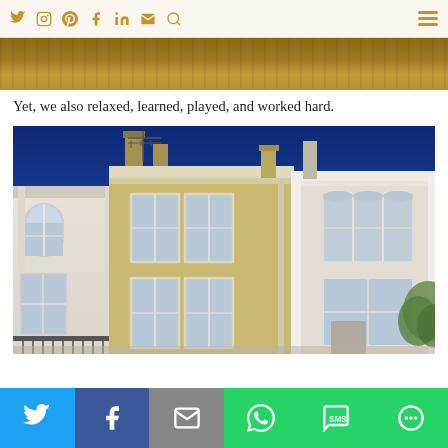Navigation bar with social icons (Twitter, Instagram, Pinterest, Facebook, LinkedIn, Email, Search) and hamburger menu
[Figure (photo): Partial cropped image of a wooden surface, appears to be the bottom edge of a previous content image]
Yet, we also relaxed, learned, played, and worked hard.
[Figure (photo): Photograph of a row of traditional London terraced houses with yellow brick facades, white sash windows, chimneys, and a TV antenna against a deep blue sky]
Social share bar with Twitter, Facebook, Email, WhatsApp, SMS, and More share buttons